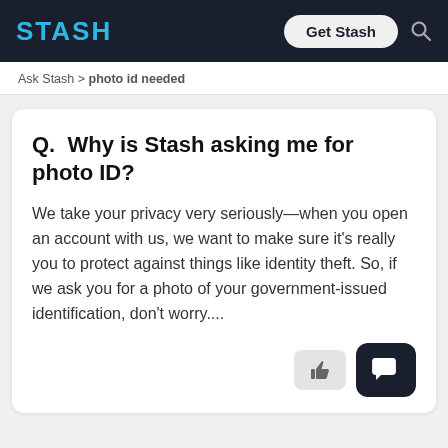STASH | Get Stash
Ask Stash > photo id needed
Q.  Why is Stash asking me for photo ID?
We take your privacy very seriously—when you open an account with us, we want to make sure it's really you to protect against things like identity theft. So, if we ask you for a photo of your government-issued identification, don't worry....